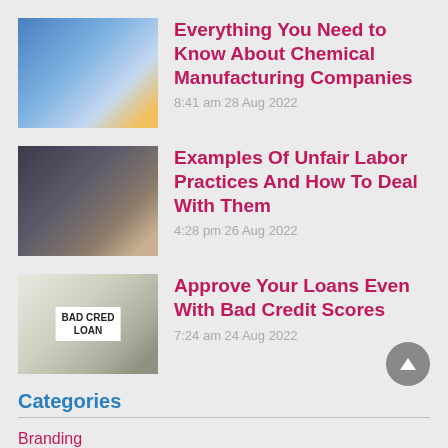[Figure (photo): Chemical manufacturing lab/factory image with blue tones]
Everything You Need to Know About Chemical Manufacturing Companies
8:41 am 28 Aug 2022
[Figure (photo): Person with gavel - unfair labor practices legal image]
Examples Of Unfair Labor Practices And How To Deal With Them
4:28 pm 26 Aug 2022
[Figure (photo): Bad Credit Loan sign/document image]
Approve Your Loans Even With Bad Credit Scores
7:24 am 24 Aug 2022
Categories
Branding